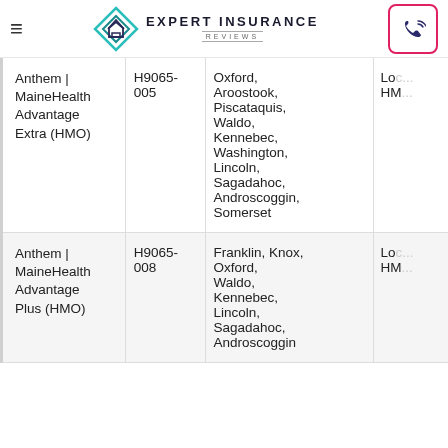Expert Insurance Reviews
| Plan Name | Plan ID | Counties | Type |
| --- | --- | --- | --- |
| Anthem | MaineHealth Advantage Extra (HMO) | H9065-005 | Oxford, Aroostook, Piscataquis, Waldo, Kennebec, Washington, Lincoln, Sagadahoc, Androscoggin, Somerset | Lo... HM... |
| Anthem | MaineHealth Advantage Plus (HMO) | H9065-008 | Franklin, Knox, Oxford, Waldo, Kennebec, Lincoln, Sagadahoc, Androscoggin... | Lo... HM... |